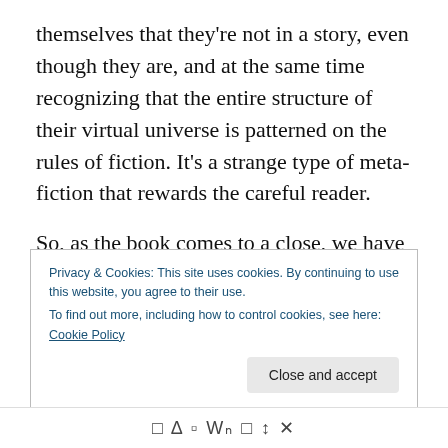themselves that they're not in a story, even though they are, and at the same time recognizing that the entire structure of their virtual universe is patterned on the rules of fiction. It's a strange type of meta-fiction that rewards the careful reader.
So, as the book comes to a close, we have some new threads to follow. The Otherland explorers begin to find their purpose and learn about their situation. We've met a strange type of character which exists in many worlds at once – the beautiful, birdlike woman who tries to help Paul
Privacy & Cookies: This site uses cookies. By continuing to use this website, you agree to their use.
To find out more, including how to control cookies, see here: Cookie Policy